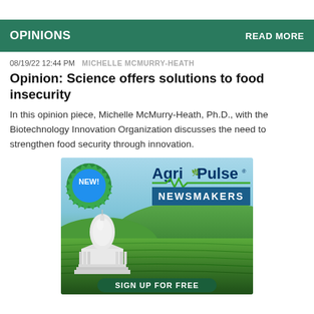OPINIONS    READ MORE
08/19/22 12:44 PM   MICHELLE MCMURRY-HEATH
Opinion: Science offers solutions to food insecurity
In this opinion piece, Michelle McMurry-Heath, Ph.D., with the Biotechnology Innovation Organization discusses the need to strengthen food security through innovation.
[Figure (illustration): Agri-Pulse Newsmakers advertisement banner showing the US Capitol building, rolling green fields, with a 'NEW!' badge and 'SIGN UP FOR FREE' button at the bottom.]